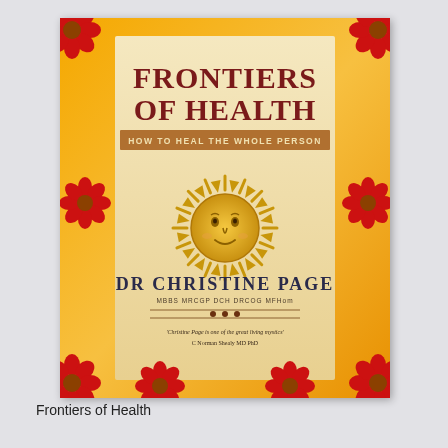[Figure (illustration): Book cover of 'Frontiers of Health: How to Heal the Whole Person' by Dr Christine Page MBBS MRCGP DCH DRCOG MFHom. The cover has an orange/yellow border decorated with red daisy flowers at the corners and sides. The center has a cream/beige background with dark red serif title text 'FRONTIERS OF HEALTH', a golden-brown banner reading 'HOW TO HEAL THE WHOLE PERSON', a decorative golden sun illustration with a face, the author name 'DR CHRISTINE PAGE' in dark serif text, credentials below, decorative dots and lines, and an italic quote at the bottom: 'Christine Page is one of the great living mystics' C Norman Shealy MD PhD.]
Frontiers of Health